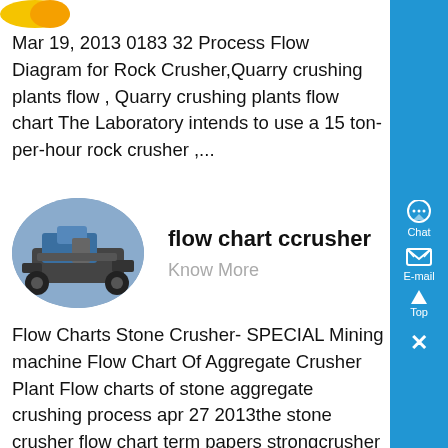[Figure (logo): Partial yellow/orange logo at top left]
Mar 19, 2013 0183 32 Process Flow Diagram for Rock Crusher,Quarry crushing plants flow , Quarry crushing plants flow chart The Laboratory intends to use a 15 ton-per-hour rock crusher ,...
[Figure (photo): Oval-shaped photo of a rock crusher machine on a truck/mobile platform]
flow chart ccrusher
Know More
Flow Charts Stone Crusher- SPECIAL Mining machine Flow Chart Of Aggregate Crusher Plant Flow charts of stone aggregate crushing process apr 27 2013the stone crusher flow chart term papers strongcrusher oct 2012 chart process the flow chart process chosen for this assignment was my process our plant the full set of stone production line gear to offer you with ,...